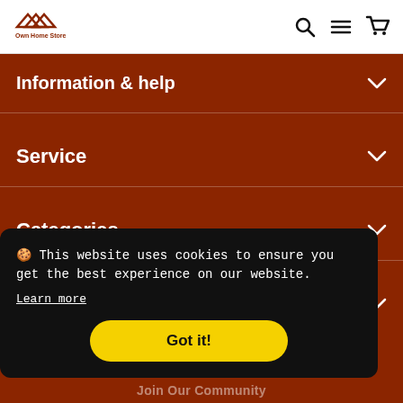[Figure (logo): Own Home Store logo with house/roof icon shape in dark red/brown and text 'Own Home Store' below]
Information & help
Service
Categories
🍪 This website uses cookies to ensure you get the best experience on our website. Learn more
Got it!
Join Our Community